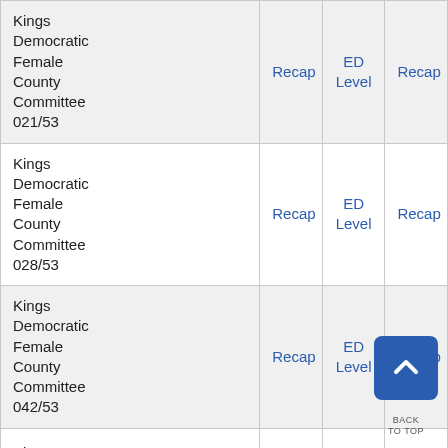|  |  | ED Level |  |
| --- | --- | --- | --- |
| Kings Democratic Female County Committee 021/53 | Recap | ED Level | Recap |
| Kings Democratic Female County Committee 028/53 | Recap | ED Level | Recap |
| Kings Democratic Female County Committee 042/53 | Recap | ED Level | Recap |
| Kings Democratic... |  |  |  |